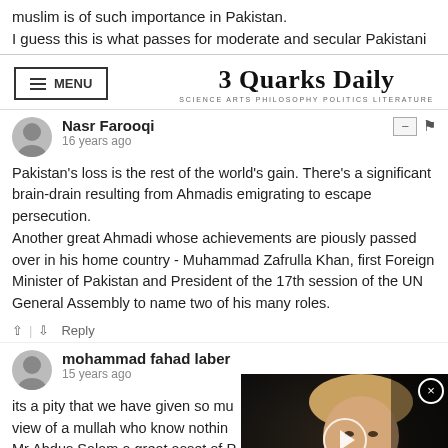muslim is of such importance in Pakistan.
I guess this is what passes for moderate and secular Pakistani
3 Quarks Daily — SCIENCE ARTS PHILOSOPHY POLITICS LITERATURE
Nasr Farooqi
16 years ago
Pakistan's loss is the rest of the world's gain. There's a significant brain-drain resulting from Ahmadis emigrating to escape persecution.
Another great Ahmadi whose achievements are piously passed over in his home country - Muhammad Zafrulla Khan, first Foreign Minister of Pakistan and President of the 17th session of the UN General Assembly to name two of his many roles.
Reply
mohammad fahad laber
15 years ago
its a pity that we have given so mu... view of a mullah who know nothin... Mr Abdus Salam a great asset of P... moniza should not have said sham...
[Figure (screenshot): Video overlay showing a man (Donald Trump) with blonde hair in dark suit and red tie, with a circular play button in center and an X close button at top right.]